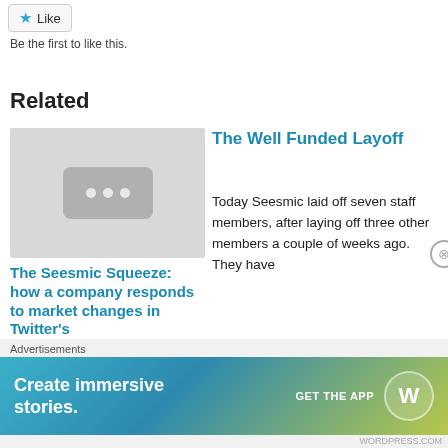[Figure (other): Like button with star icon]
Be the first to like this.
Related
[Figure (other): Thumbnail placeholder with three dots icon]
The Seesmic Squeeze: how a company responds to market changes in Twitter's
The Well Funded Layoff
Today Seesmic laid off seven staff members, after laying off three other members a couple of weeks ago. They have
October 10, 2008
With 95 comments
Advertisements
[Figure (other): WordPress advertisement banner: Create immersive stories. GET THE APP with WordPress logo]